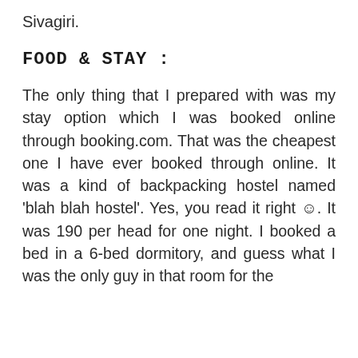Sivagiri.
FOOD & STAY :
The only thing that I prepared with was my stay option which I was booked online through booking.com. That was the cheapest one I have ever booked through online. It was a kind of backpacking hostel named 'blah blah hostel'. Yes, you read it right ☺. It was 190 per head for one night. I booked a bed in a 6-bed dormitory, and guess what I was the only guy in that room for the